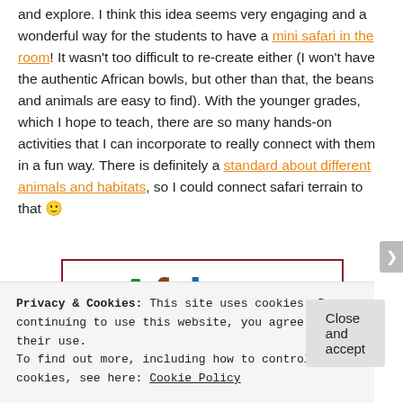and explore. I think this idea seems very engaging and a wonderful way for the students to have a mini safari in the room! It wasn't too difficult to re-create either (I won't have the authentic African bowls, but other than that, the beans and animals are easy to find). With the younger grades, which I hope to teach, there are so many hands-on activities that I can incorporate to really connect with them in a fun way. There is definitely a standard about different animals and habitats, so I could connect safari terrain to that 🙂
[Figure (illustration): Colorful text image showing 'African' in multicolor letters (green A, brown fri, blue i, purple ca, dark red n) with partial 'Safari' text below, inside a dark red border box.]
Privacy & Cookies: This site uses cookies. By continuing to use this website, you agree to their use.
To find out more, including how to control cookies, see here: Cookie Policy
Close and accept